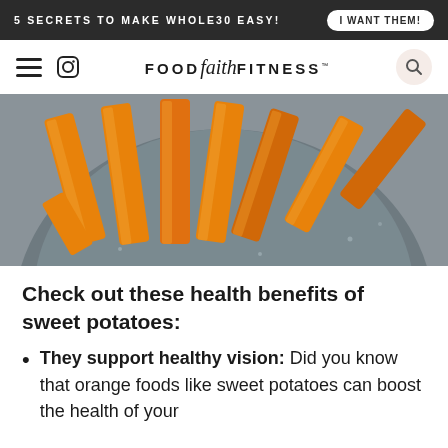5 SECRETS TO MAKE WHOLE30 EASY!  I WANT THEM!
FOOD faith FITNESS™
[Figure (photo): Overhead close-up photo of orange sweet potato fries/sticks in a dark grey skillet pan with water droplets visible]
Check out these health benefits of sweet potatoes:
They support healthy vision: Did you know that orange foods like sweet potatoes can boost the health of your